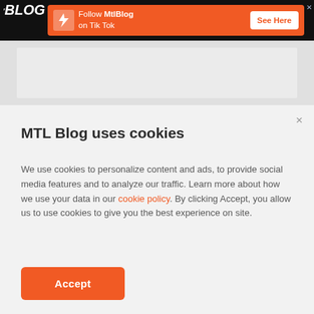MTL Blog - Follow MtlBlog on Tik Tok - See Here
[Figure (screenshot): Gray content area placeholder behind cookie modal]
MTL Blog uses cookies
We use cookies to personalize content and ads, to provide social media features and to analyze our traffic. Learn more about how we use your data in our cookie policy. By clicking Accept, you allow us to use cookies to give you the best experience on site.
Accept